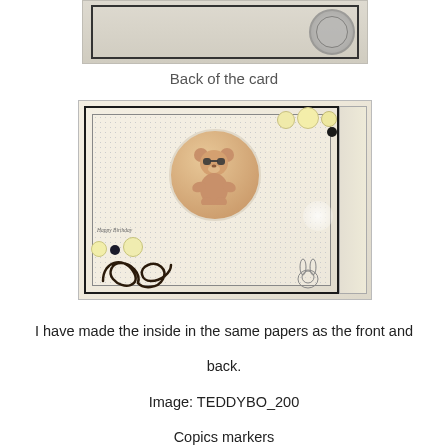[Figure (photo): Partial top view of the back of a handmade greeting card with decorative paper and a circular stamp/seal in the top right corner]
Back of the card
[Figure (photo): Front view of a handmade birthday greeting card featuring a teddy bear in a circular frame, yellow flowers, a Magnolia swirl die cut, small bunny stamp, and Happy Birthday text on decorative prima papers]
I have made the inside in the same papers as the front and back.
Image: TEDDYBO_200
Copics markers
Papers from Prima
Magnolia swirl
Flowers from WOC